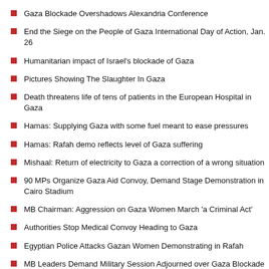Gaza Blockade Overshadows Alexandria Conference
End the Siege on the People of Gaza International Day of Action, Jan. 26
Humanitarian impact of Israel's blockade of Gaza
Pictures Showing The Slaughter In Gaza
Death threatens life of tens of patients in the European Hospital in Gaza
Hamas: Supplying Gaza with some fuel meant to ease pressures
Hamas: Rafah demo reflects level of Gaza suffering
Mishaal: Return of electricity to Gaza a correction of a wrong situation
90 MPs Organize Gaza Aid Convoy, Demand Stage Demonstration in Cairo Stadium
MB Chairman: Aggression on Gaza Women March 'a Criminal Act'
Authorities Stop Medical Convoy Heading to Gaza
Egyptian Police Attacks Gazan Women Demonstrating in Rafah
MB Leaders Demand Military Session Adjourned over Gaza Blockade
Israel is Effecting Holocaust in Gaza